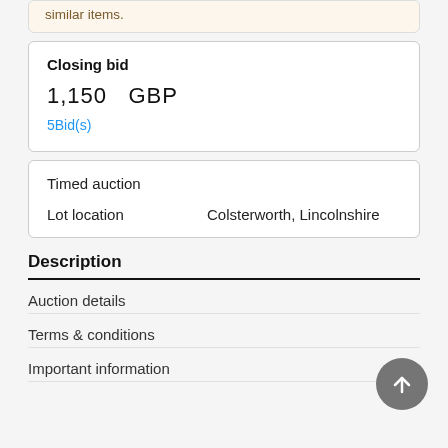similar items.
Closing bid
1,150   GBP
5Bid(s)
Timed auction
Lot location
Colsterworth, Lincolnshire
Description
Auction details
Terms & conditions
Important information